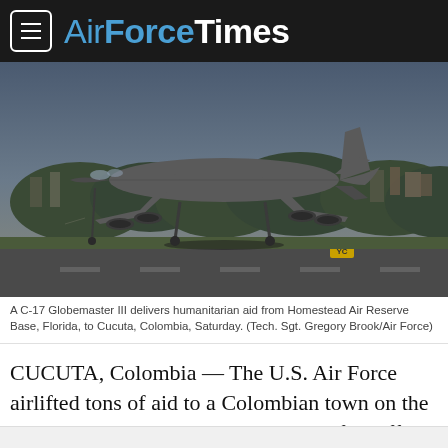AirForceTimes
[Figure (photo): A C-17 Globemaster III military transport aircraft landing or taking off on a runway, with trees and buildings visible in the background under an overcast sky.]
A C-17 Globemaster III delivers humanitarian aid from Homestead Air Reserve Base, Florida, to Cucuta, Colombia, Saturday. (Tech. Sgt. Gregory Brook/Air Force)
CUCUTA, Colombia — The U.S. Air Force airlifted tons of aid to a Colombian town on the Venezuelan border Saturday as part of an effort to both help the Venezuelan people during their